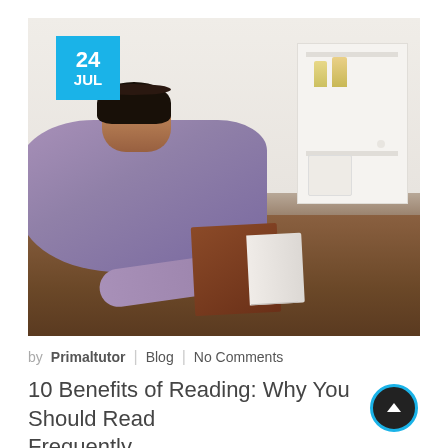[Figure (photo): A young Black woman lying on a hardwood floor, smiling and holding an open brown book. She wears a lavender/purple long-sleeve top. The background shows a white wall and a white shelving unit with two small yellow candles on top. A cyan/blue date badge in the top-left corner reads '24 JUL'.]
by Primaltutor  |  Blog  |  No Comments
10 Benefits of Reading: Why You Should Read Frequently